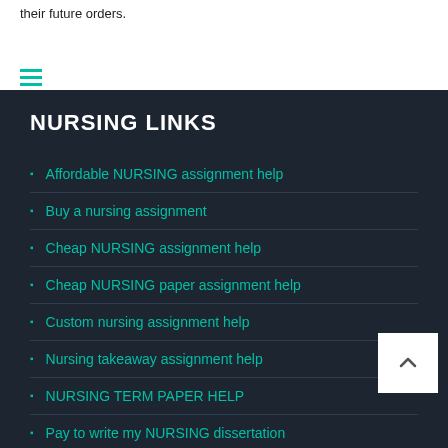their future orders.
NURSING LINKS
Affordable NURSING assignment help
Buy a nursing assignment
Cheap NURSING assignment help
Cheap NURSING paper assignment help
Custom nursing assignment help
Nursing takeaway assignment help
NURSING TERM PAPER HELP
Pay to write my NURSING dissertation